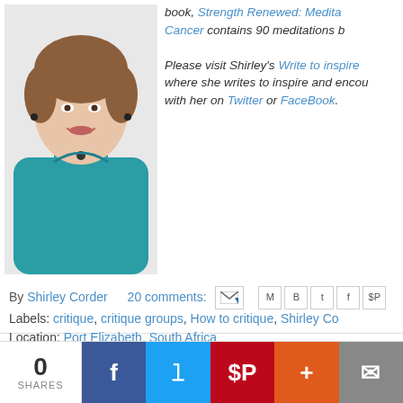[Figure (photo): Headshot of a woman with short brown hair wearing a teal/blue shirt, smiling, with small earrings and a necklace]
book, Strength Renewed: Medita... Cancer contains 90 meditations b...

Please visit Shirley's Write to inspire where she writes to inspire and encou... with her on Twitter or FaceBook.
By Shirley Corder   20 comments:
Labels: critique, critique groups, How to critique, Shirley Co...
Location: Port Elizabeth, South Africa
Sunday, May 20, 2012
Dealing with the First Editor
0 SHARES